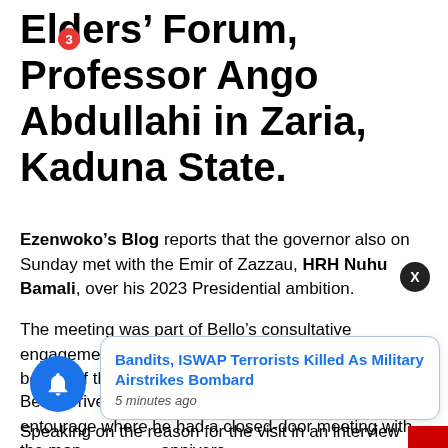Elders' Forum, Professor Ango Abdullahi in Zaria, Kaduna State.
Ezenwoko's Blog reports that the governor also on Sunday met with the Emir of Zazzau, HRH Nuhu Bamali, over his 2023 Presidential ambition.
The meeting was part of Bello's consultative engagements over his desire to become the standard-bearer of the APC.
Bello arrived at the emir's palace with a large entourage where he had a closed-door meeting with the mon… annivers…
Speaking on the reason for the visit in an interview
[Figure (other): Toast notification popup with text: Bandits, ISWAP Terrorists Killed As Military Airstrikes Bombard — 5 minutes ago]
[Figure (other): Blue circular notification bell button with red badge showing count 3]